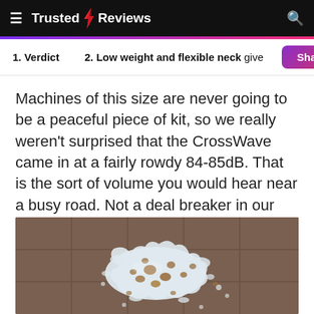Trusted Reviews
1. Verdict   2. Low weight and flexible neck give
Machines of this size are never going to be a peaceful piece of kit, so we really weren't surprised that the CrossWave came in at a fairly rowdy 84-85dB. That is the sort of volume you would hear near a busy road. Not a deal breaker in our eyes though and very normal for a powerful floor cleaner.
[Figure (photo): Photo of a white milky spill with cereal pieces on a brown tiled floor, taken from above.]